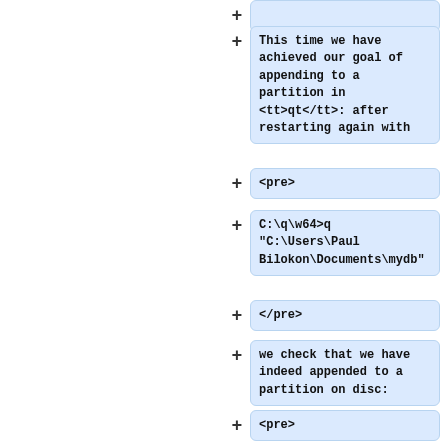+ (collapsed row at top)
This time we have achieved our goal of appending to a partition in <tt>qt</tt>: after restarting again with
+ <pre>
C:\q\w64>q "C:\Users\Paul Bilokon\Documents\mydb"
+ </pre>
we check that we have indeed appended to a partition on disc:
+ <pre>
+ select from qt